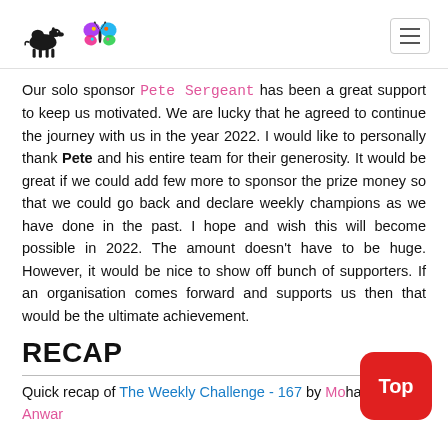[Figure (logo): Camel and butterfly logo icons]
Our solo sponsor Pete Sergeant has been a great support to keep us motivated. We are lucky that he agreed to continue the journey with us in the year 2022. I would like to personally thank Pete and his entire team for their generosity. It would be great if we could add few more to sponsor the prize money so that we could go back and declare weekly champions as we have done in the past. I hope and wish this will become possible in 2022. The amount doesn't have to be huge. However, it would be nice to show off bunch of supporters. If an organisation comes forward and supports us then that would be the ultimate achievement.
RECAP
Quick recap of The Weekly Challenge - 167 by Mohammed S Anwar